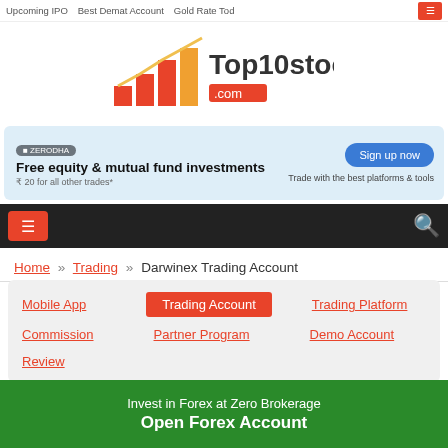Upcoming IPO  Best Demat Account  Gold Rate Today
[Figure (logo): Top10stockbroker.com logo with bar chart icon in orange and red]
[Figure (infographic): Zerodha ad banner: Free equity & mutual fund investments, ₹20 for all other trades*, Sign up now, Trade with the best platforms & tools]
≡  🔍
Home » Trading » Darwinex Trading Account
Mobile App
Trading Account
Trading Platform
Commission
Partner Program
Demo Account
Review
Darwinex Trading Account – Review
Invest in Forex at Zero Brokerage
Open Forex Account